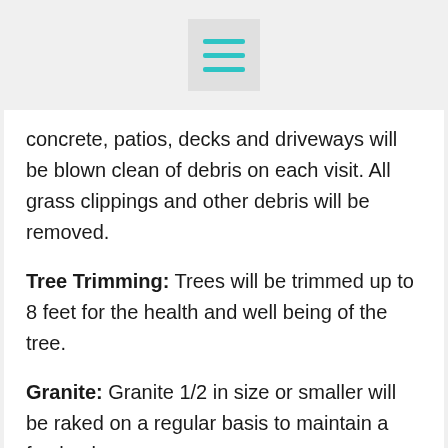[hamburger menu icon]
concrete, patios, decks and driveways will be blown clean of debris on each visit. All grass clippings and other debris will be removed.
Tree Trimming: Trees will be trimmed up to 8 feet for the health and well being of the tree.
Granite: Granite 1/2 in size or smaller will be raked on a regular basis to maintain a fresh, clean appearance.
For more information about residential